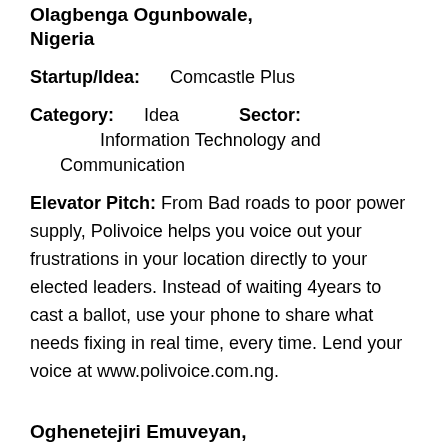Olagbenga Ogunbowale, Nigeria
Startup/Idea: Comcastle Plus
Category: Idea   Sector: Information Technology and Communication
Elevator Pitch: From Bad roads to poor power supply, Polivoice helps you voice out your frustrations in your location directly to your elected leaders. Instead of waiting 4years to cast a ballot, use your phone to share what needs fixing in real time, every time. Lend your voice at www.polivoice.com.ng.
Oghenetejiri Emuveyan, Nigeria